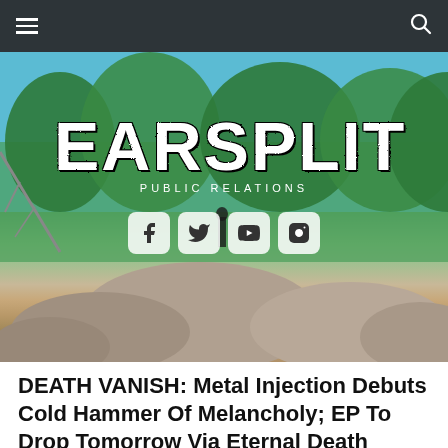Navigation bar with hamburger menu and search icon
[Figure (photo): Earsplit Public Relations website header banner showing outdoor rocky landscape with blue sky and pine trees. Large white distressed 'EARSPLIT' logo with 'PUBLIC RELATIONS' subtitle below. Four social media icons (Facebook, Twitter, YouTube, Instagram) in white rounded square buttons below the logo.]
DEATH VANISH: Metal Injection Debuts Cold Hammer Of Melancholy; EP To Drop Tomorrow Via Eternal Death